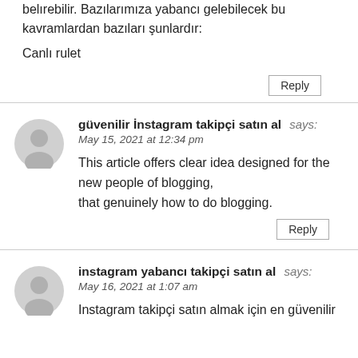belırebilir. Bazılarımıza yabancı gelebilecek bu kavramlardan bazıları şunlardır:
Canlı rulet
Reply
güvenilir İnstagram takipçi satın al says:
May 15, 2021 at 12:34 pm
This article offers clear idea designed for the new people of blogging,
that genuinely how to do blogging.
Reply
instagram yabancı takipçi satın al says:
May 16, 2021 at 1:07 am
Instagram takipçi satın almak için en güvenilir